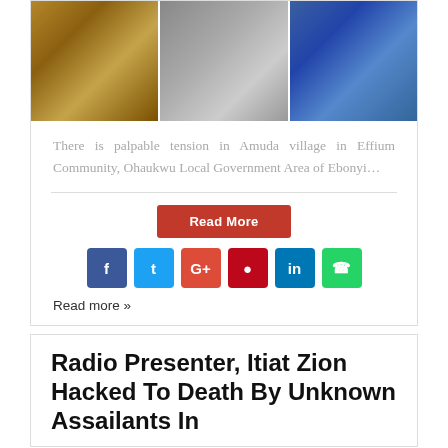[Figure (photo): Three photos side by side showing aftermath of violence]
There is palpable tension in Amuda village in Effium Community, Ohaukwu Local Government Area of Ebonyi…
Read More
[Figure (other): Social media sharing icons: Facebook, Twitter, Google+, Pinterest, LinkedIn, WhatsApp]
Read more »
Radio Presenter, Itiat Zion Hacked To Death By Unknown Assailants In